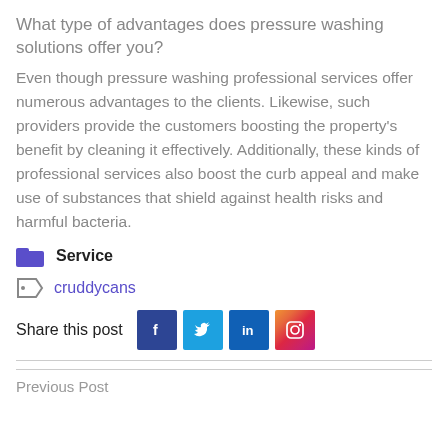What type of advantages does pressure washing solutions offer you?
Even though pressure washing professional services offer numerous advantages to the clients. Likewise, such providers provide the customers boosting the property's benefit by cleaning it effectively. Additionally, these kinds of professional services also boost the curb appeal and make use of substances that shield against health risks and harmful bacteria.
Service
cruddycans
Share this post
Previous Post